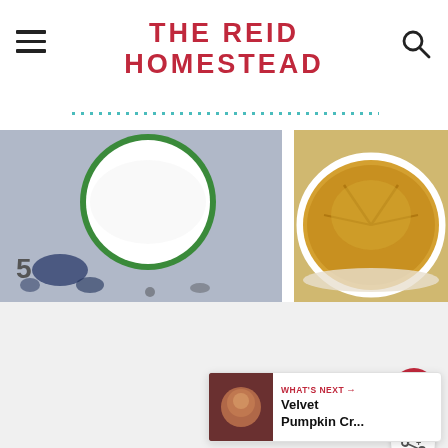THE REID HOMESTEAD
[Figure (photo): Left photo: white plate with green rim on a blue and white speckled surface]
[Figure (photo): Right photo: golden baked pie in a white dish viewed from above]
[Figure (other): White/light gray blank content area]
[Figure (other): Red circular heart/like button icon]
[Figure (other): White circular share button icon]
[Figure (other): What's Next bar with thumbnail and text: Velvet Pumpkin Cr...]